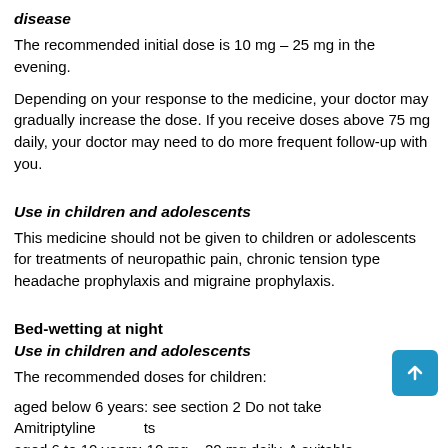disease
The recommended initial dose is 10 mg – 25 mg in the evening.
Depending on your response to the medicine, your doctor may gradually increase the dose. If you receive doses above 75 mg daily, your doctor may need to do more frequent follow-up with you.
Use in children and adolescents
This medicine should not be given to children or adolescents for treatments of neuropathic pain, chronic tension type headache prophylaxis and migraine prophylaxis.
Bed-wetting at night
Use in children and adolescents
The recommended doses for children:
aged below 6 years: see section 2 Do not take Amitriptyline ts aged 6 to 10 years: 10 mg – 20 mg daily. A suitable dosage form should be used for this age group.